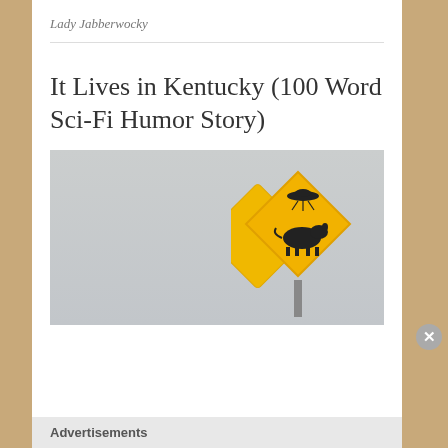Lady Jabberwocky
It Lives in Kentucky (100 Word Sci-Fi Humor Story)
[Figure (photo): A yellow diamond-shaped road warning sign featuring a black cow silhouette with a UFO/flying saucer above it, mounted on a pole against a gray sky background.]
Advertisements